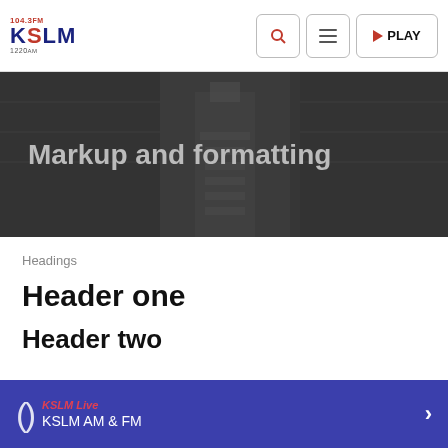KSLM 104.3 FM / 1220 AM — Navigation bar with search, menu, and play buttons
[Figure (screenshot): Hero banner with dark overlay showing Capitol building and American flag in background, with text 'Markup and formatting']
Markup and formatting
Headings
Header one
Header two
KSLM Live — KSLM AM & FM